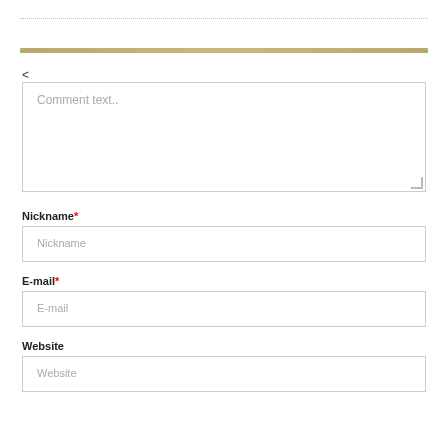<
Comment text..
Nickname*
Nickname
E-mail*
E-mail
Website
Website